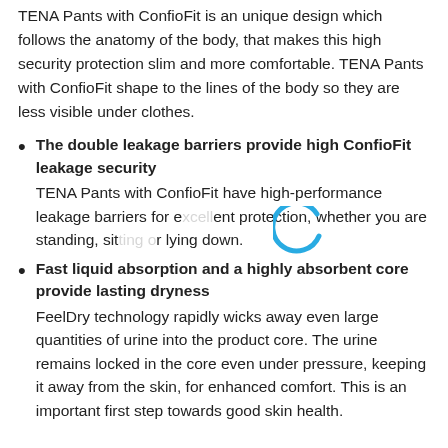TENA Pants with ConfioFit is an unique design which follows the anatomy of the body, that makes this high security protection slim and more comfortable. TENA Pants with ConfioFit shape to the lines of the body so they are less visible under clothes.
The double leakage barriers provide high ConfioFit leakage security
TENA Pants with ConfioFit have high-performance leakage barriers for excellent protection, whether you are standing, sitting or lying down.
Fast liquid absorption and a highly absorbent core provide lasting dryness
FeelDry technology rapidly wicks away even large quantities of urine into the product core. The urine remains locked in the core even under pressure, keeping it away from the skin, for enhanced comfort. This is an important first step towards good skin health.